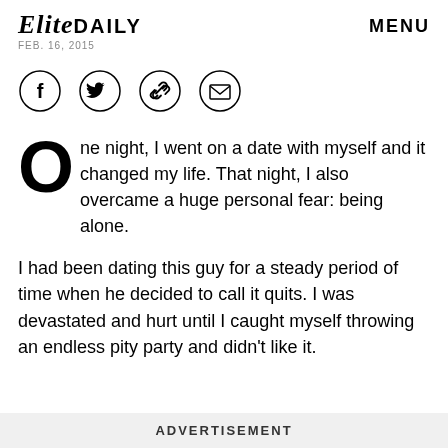Elite DAILY — FEB. 16, 2015 — MENU
[Figure (other): Social share icons: Facebook, Twitter, link/chain, email — four circles with icons]
One night, I went on a date with myself and it changed my life. That night, I also overcame a huge personal fear: being alone.
I had been dating this guy for a steady period of time when he decided to call it quits. I was devastated and hurt until I caught myself throwing an endless pity party and didn't like it.
ADVERTISEMENT